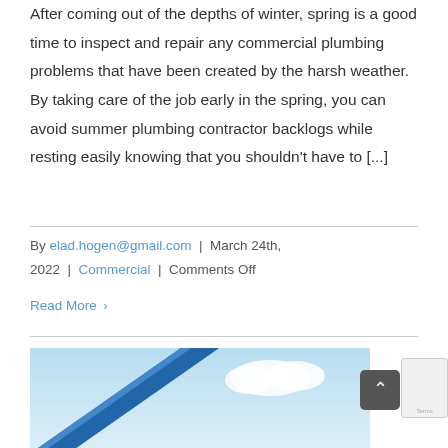After coming out of the depths of winter, spring is a good time to inspect and repair any commercial plumbing problems that have been created by the harsh weather.  By taking care of the job early in the spring, you can avoid summer plumbing contractor backlogs while resting easily knowing that you shouldn't have to [...]
By elad.hogen@gmail.com | March 24th, 2022 | Commercial | Comments Off
Read More >
[Figure (photo): Photo of blue plumbing pipe against a light blue sky background]